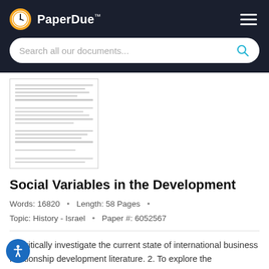PaperDue™
[Figure (screenshot): Search bar with placeholder text 'Search all our documents...' and a blue search icon, on dark background header]
[Figure (illustration): Blurred/greyed out thumbnail preview of a multi-page document]
Social Variables in the Development
Words: 16820  •  Length: 58 Pages  •
Topic: History - Israel  •  Paper #: 6052567
To critically investigate the current state of international business relationship development literature. 2. To explore the characteristics that determines sustainable international business relationships within the Libyan